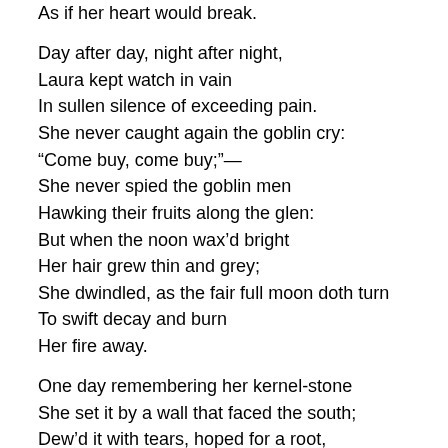As if her heart would break.

Day after day, night after night,
Laura kept watch in vain
In sullen silence of exceeding pain.
She never caught again the goblin cry:
“Come buy, come buy;”—
She never spied the goblin men
Hawking their fruits along the glen:
But when the noon wax’d bright
Her hair grew thin and grey;
She dwindled, as the fair full moon doth turn
To swift decay and burn
Her fire away.

One day remembering her kernel-stone
She set it by a wall that faced the south;
Dew’d it with tears, hoped for a root,